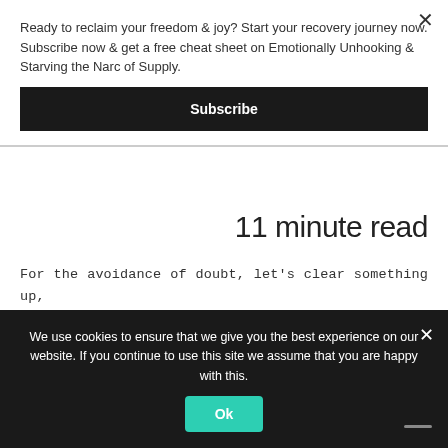Ready to reclaim your freedom & joy? Start your recovery journey now. Subscribe now & get a free cheat sheet on Emotionally Unhooking & Starving the Narc of Supply.
Subscribe
11 minute read
For the avoidance of doubt, let's clear something up,
We use cookies to ensure that we give you the best experience on our website. If you continue to use this site we assume that you are happy with this.
Ok